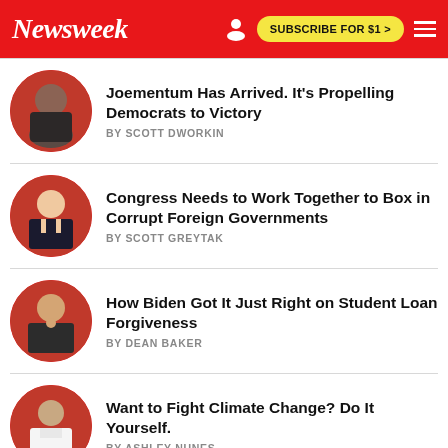Newsweek | SUBSCRIBE FOR $1 >
Joementum Has Arrived. It's Propelling Democrats to Victory
BY SCOTT DWORKIN
Congress Needs to Work Together to Box in Corrupt Foreign Governments
BY SCOTT GREYTAK
How Biden Got It Just Right on Student Loan Forgiveness
BY DEAN BAKER
Want to Fight Climate Change? Do It Yourself.
BY ASHLEY NUNES
Biden's Student Loan Stunt Is a Desperate Attempt